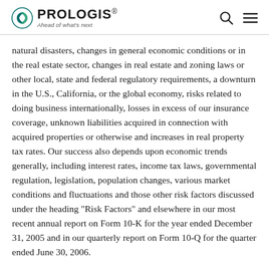PROLOGIS — Ahead of what's next
natural disasters, changes in general economic conditions or in the real estate sector, changes in real estate and zoning laws or other local, state and federal regulatory requirements, a downturn in the U.S., California, or the global economy, risks related to doing business internationally, losses in excess of our insurance coverage, unknown liabilities acquired in connection with acquired properties or otherwise and increases in real property tax rates. Our success also depends upon economic trends generally, including interest rates, income tax laws, governmental regulation, legislation, population changes, various market conditions and fluctuations and those other risk factors discussed under the heading "Risk Factors" and elsewhere in our most recent annual report on Form 10-K for the year ended December 31, 2005 and in our quarterly report on Form 10-Q for the quarter ended June 30, 2006.